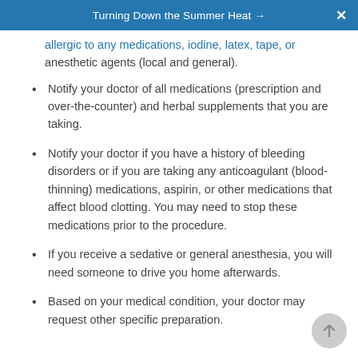Turning Down the Summer Heat →
allergic to any medications, iodine, latex, tape, or anesthetic agents (local and general).
Notify your doctor of all medications (prescription and over-the-counter) and herbal supplements that you are taking.
Notify your doctor if you have a history of bleeding disorders or if you are taking any anticoagulant (blood-thinning) medications, aspirin, or other medications that affect blood clotting. You may need to stop these medications prior to the procedure.
If you receive a sedative or general anesthesia, you will need someone to drive you home afterwards.
Based on your medical condition, your doctor may request other specific preparation.